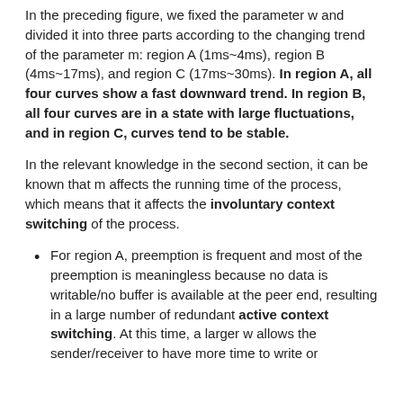In the preceding figure, we fixed the parameter w and divided it into three parts according to the changing trend of the parameter m: region A (1ms~4ms), region B (4ms~17ms), and region C (17ms~30ms). In region A, all four curves show a fast downward trend. In region B, all four curves are in a state with large fluctuations, and in region C, curves tend to be stable.
In the relevant knowledge in the second section, it can be known that m affects the running time of the process, which means that it affects the involuntary context switching of the process.
For region A, preemption is frequent and most of the preemption is meaningless because no data is writable/no buffer is available at the peer end, resulting in a large number of redundant active context switching. At this time, a larger w allows the sender/receiver to have more time to write or